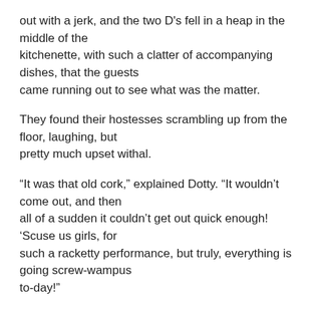out with a jerk, and the two D's fell in a heap in the middle of the kitchenette, with such a clatter of accompanying dishes, that the guests came running out to see what was the matter.
They found their hostesses scrambling up from the floor, laughing, but pretty much upset withal.
“It was that old cork,” explained Dotty. “It wouldn’t come out, and then all of a sudden it couldn’t get out quick enough! ‘Scuse us girls, for such a racketty performance, but truly, everything is going screw-wampus to-day!”